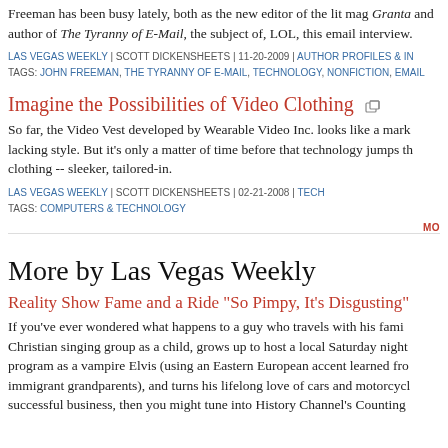Freeman has been busy lately, both as the new editor of the lit mag Granta and author of The Tyranny of E-Mail, the subject of, LOL, this email interview.
LAS VEGAS WEEKLY | SCOTT DICKENSHEETS | 11-20-2009 | AUTHOR PROFILES & IN
TAGS: JOHN FREEMAN, THE TYRANNY OF E-MAIL, TECHNOLOGY, NONFICTION, EMAIL
Imagine the Possibilities of Video Clothing
So far, the Video Vest developed by Wearable Video Inc. looks like a mark lacking style. But it's only a matter of time before that technology jumps th clothing -- sleeker, tailored-in.
LAS VEGAS WEEKLY | SCOTT DICKENSHEETS | 02-21-2008 | TECH
TAGS: COMPUTERS & TECHNOLOGY
MC
More by Las Vegas Weekly
Reality Show Fame and a Ride "So Pimpy, It's Disgusting"
If you've ever wondered what happens to a guy who travels with his fami Christian singing group as a child, grows up to host a local Saturday night program as a vampire Elvis (using an Eastern European accent learned fro immigrant grandparents), and turns his lifelong love of cars and motorcycl successful business, then you might tune into History Channel's Counting